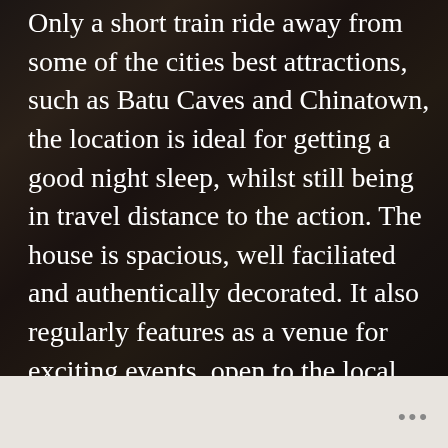Only a short train ride away from some of the cities best attractions, such as Batu Caves and Chinatown, the location is ideal for getting a good night sleep, whilst still being in travel distance to the action. The house is spacious, well faciliated and authentically decorated. It also regularly features as a venue for exciting events, open to the local community as well as guests. Recent events include the ‘Taste of Italy’, where authentic Italian food was served alongside entertainment and a cultural presentation. Scheduled upcoming events include the ‘Mooncake Festival Dinner’, as well as plans for both Polish and French dinner evenings, created and ran by visiting natives from their respective countries.
•••